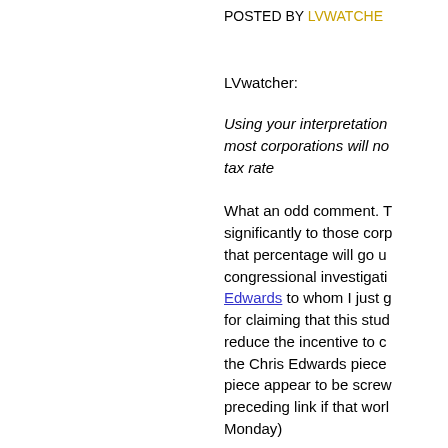POSTED BY LVWATCHER
LVwatcher:
Using your interpretation most corporations will no tax rate
What an odd comment. T significantly to those corp that percentage will go u congressional investigati Edwards to whom I just g for claiming that this stud reduce the incentive to c the Chris Edwards piece piece appear to be screw preceding link if that worl Monday)